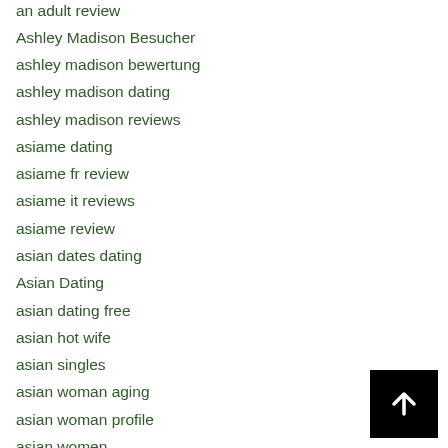an adult review
Ashley Madison Besucher
ashley madison bewertung
ashley madison dating
ashley madison reviews
asiame dating
asiame fr review
asiame it reviews
asiame review
asian dates dating
Asian Dating
asian dating free
asian hot wife
asian singles
asian woman aging
asian woman profile
asian women
asiandate italia
asiandate login
AsianDating reviews